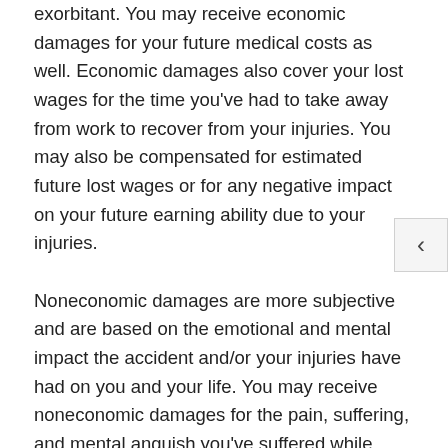exorbitant. You may receive economic damages for your future medical costs as well. Economic damages also cover your lost wages for the time you've had to take away from work to recover from your injuries. You may also be compensated for estimated future lost wages or for any negative impact on your future earning ability due to your injuries.

Noneconomic damages are more subjective and are based on the emotional and mental impact the accident and/or your injuries have had on you and your life. You may receive noneconomic damages for the pain, suffering, and mental anguish you've suffered while recovering from your injuries. If you are no longer able to engage in activities you once enjoyed, you may be compensated for this loss. If your personal and familial relationships have